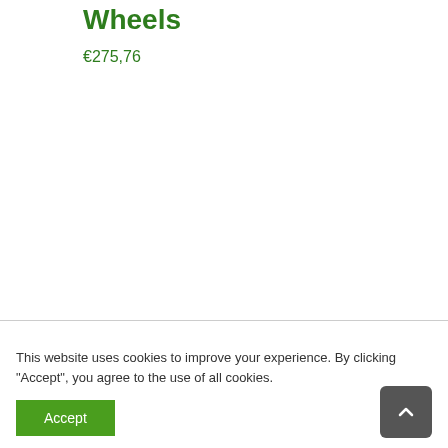Wheels
€275,76
This website uses cookies to improve your experience. By clicking "Accept", you agree to the use of all cookies.
Accept